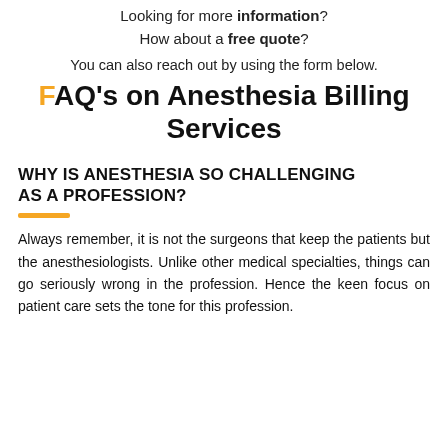Looking for more information?
How about a free quote?
You can also reach out by using the form below.
FAQ's on Anesthesia Billing Services
WHY IS ANESTHESIA SO CHALLENGING AS A PROFESSION?
Always remember, it is not the surgeons that keep the patients but the anesthesiologists. Unlike other medical specialties, things can go seriously wrong in the profession. Hence the keen focus on patient care sets the tone for this profession.